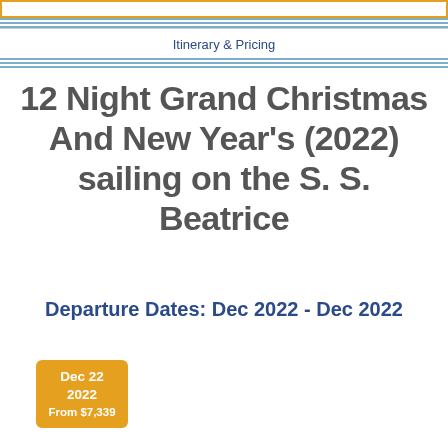Itinerary & Pricing
12 Night Grand Christmas And New Year's (2022) sailing on the S. S. Beatrice
Departure Dates: Dec 2022 - Dec 2022
Dec 22 2022 From $7,339